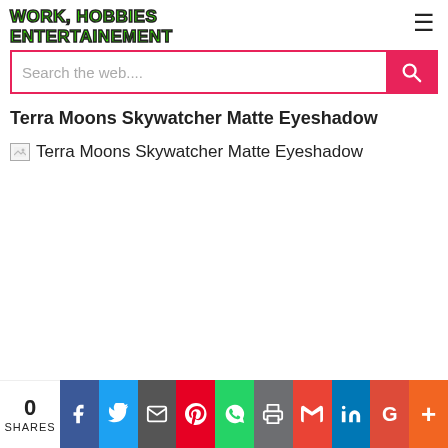WORK, HOBBIES ENTERTAINEMENT
[Figure (screenshot): Search bar with pink/red border and search button, placeholder text: Search the web....]
Terra Moons Skywatcher Matte Eyeshadow
[Figure (photo): Broken image placeholder for Terra Moons Skywatcher Matte Eyeshadow]
[Figure (infographic): Social share bar with share count 0, and icons for Facebook, Twitter, Email, Pinterest, WhatsApp, Print, Gmail, LinkedIn, Google+, More]